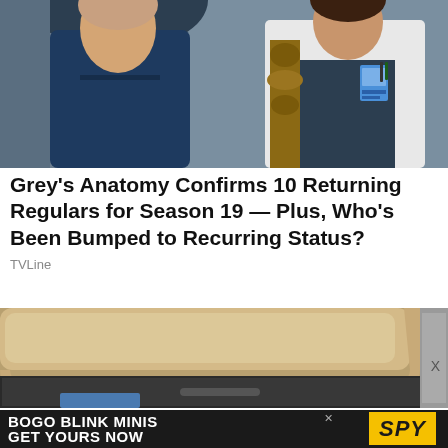[Figure (photo): Two medical professionals standing together — one in dark navy scrubs and one in a white doctor's coat with a badge/ID. A wooden totem-like sculpture is visible in the background.]
Grey's Anatomy Confirms 10 Returning Regulars for Season 19 — Plus, Who's Been Bumped to Recurring Status?
TVLine
[Figure (photo): Close-up photograph of a beige/tan colored desk or cabinet with rounded edges, shot from a low angle. A grey drawer or storage unit is visible below.]
X
BOGO BLINK MINIS GET YOURS NOW
[Figure (logo): SPY logo in bold italic yellow background]